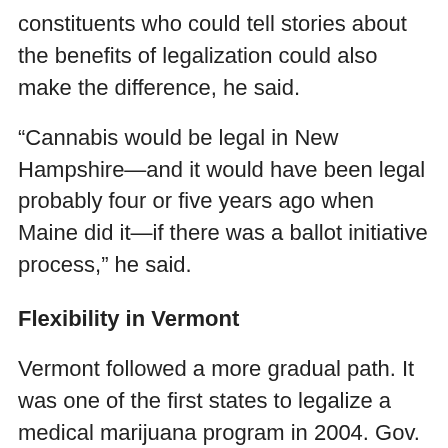constituents who could tell stories about the benefits of legalization could also make the difference, he said.
“Cannabis would be legal in New Hampshire—and it would have been legal probably four or five years ago when Maine did it—if there was a ballot initiative process,” he said.
Flexibility in Vermont
Vermont followed a more gradual path. It was one of the first states to legalize a medical marijuana program in 2004. Gov. Peter Shumlin (D) passed a decriminalization bill in 2013. And by 2015, many of the state’s residents appeared ready for full legalization.
But unlike in Maine, Vermont could not take the matter directly